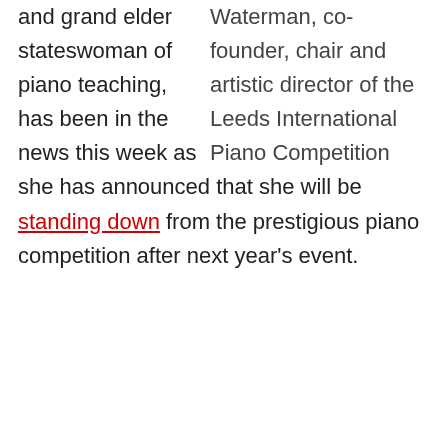Waterman, co-founder, chair and artistic director of the Leeds International Piano Competition and grand elder stateswoman of piano teaching, has been in the news this week as she has announced that she will be standing down from the prestigious piano competition after next year's event.